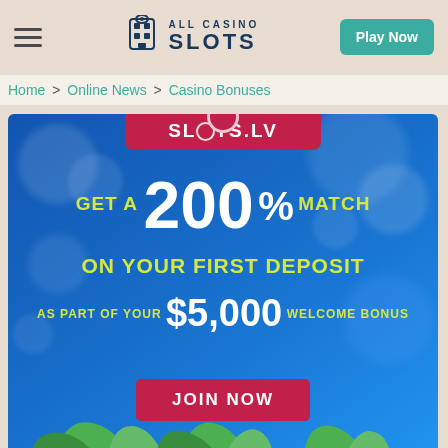ALL CASINO SLOTS — Play Now
Home > Online News > Casino Bonuses
[Figure (infographic): Slots.lv casino promotional banner with blue bokeh background. Text reads: SLOTS.LV, GET A 200% MATCH ON YOUR FIRST DEPOSIT, AS PART OF YOUR $5,000 WELCOME BONUS, JOIN NOW button. Green leaves at the bottom.]